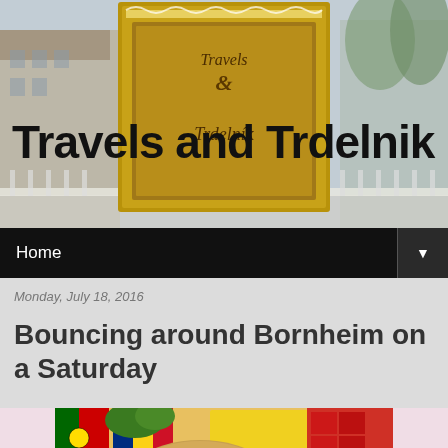[Figure (photo): Blog header with blurred city street background and decorative ornate shop sign in center reading 'Travels and Trdelnik']
Travels and Trdelnik
Home
Monday, July 18, 2016
Bouncing around Bornheim on a Saturday
[Figure (photo): Colorful market stall with a basket of oranges arranged in a smiley face pattern using blueberries, surrounded by red peppers, lemons, strawberries, eggplants, and other vegetables and fruits with flags in background]